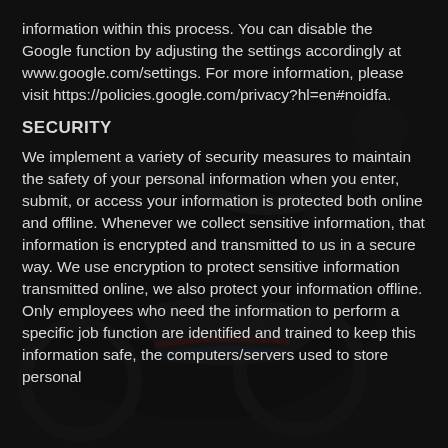information within this process. You can disable the Google function by adjusting the settings accordingly at www.google.com/settings. For more information, please visit https://policies.google.com/privacy?hl=en#noidfa.
SECURITY
We implement a variety of security measures to maintain the safety of your personal information when you enter, submit, or access your information is protected both online and offline. Whenever we collect sensitive information, that information is encrypted and transmitted to us in a secure way. We use encryption to protect sensitive information transmitted online, we also protect your information offline. Only employees who need the information to perform a specific job function are identified and trained to keep this information safe, the computers/servers used to store personal